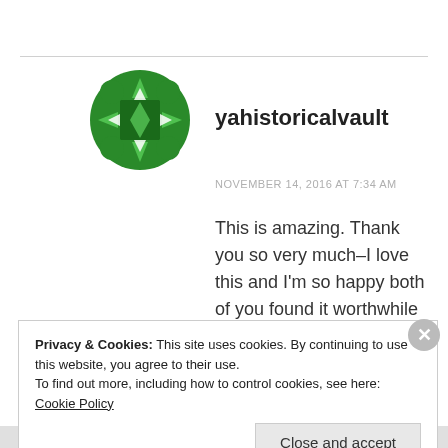[Figure (logo): Green circular avatar/logo with diamond and arrow shapes for user yahistoricalvault]
yahistoricalvault
NOVEMBER 14, 2016 AT 7:34 AM
This is amazing. Thank you so very much–I love this and I'm so happy both of you found it worthwhile and moving! Thank you!
★ Like
Privacy & Cookies: This site uses cookies. By continuing to use this website, you agree to their use.
To find out more, including how to control cookies, see here: Cookie Policy
Close and accept